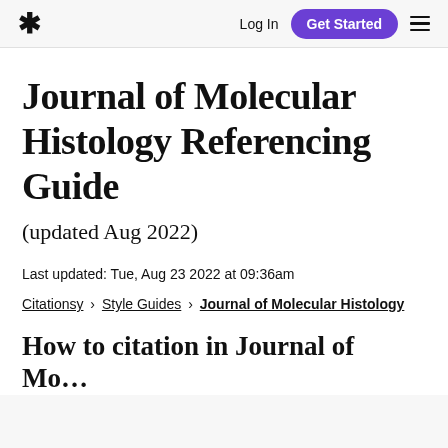* Log In Get Started ☰
Journal of Molecular Histology Referencing Guide
(updated Aug 2022)
Last updated: Tue, Aug 23 2022 at 09:36am
Citationsy › Style Guides › Journal of Molecular Histology
How to cite in Journal of Mo…